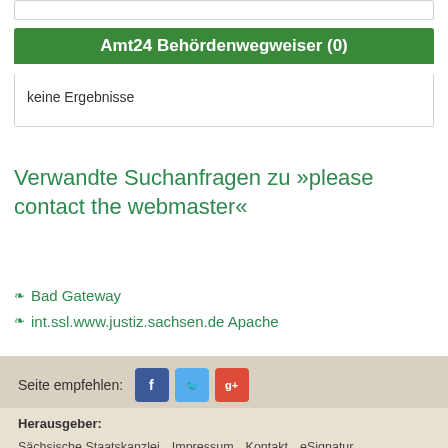Amt24 Behördenwegweiser (0)
keine Ergebnisse
Verwandte Suchanfragen zu »please contact the webmaster«
Bad Gateway
int.ssl.www.justiz.sachsen.de Apache
Seite empfehlen:
Herausgeber:
Sächsische Staatskanzlei  Impressum  Kontakt  eSignatur  Datenschutz  Übersicht